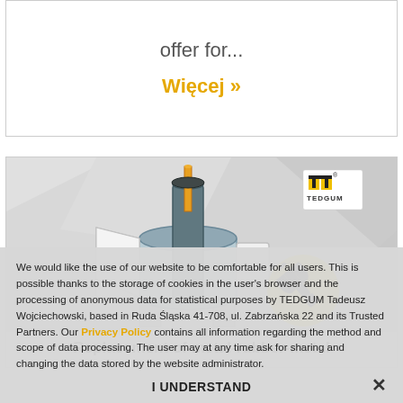offer for...
Więcej »
[Figure (illustration): Technical cutaway illustration of a metal-rubber-metal bushing/mounting component with TEDGUM logo and yellow wrench icon circle]
Replacement of metal-rubber-metal
We would like the use of our website to be comfortable for all users. This is possible thanks to the storage of cookies in the user's browser and the processing of anonymous data for statistical purposes by TEDGUM Tadeusz Wojciechowski, based in Ruda Śląska 41-708, ul. Zabrzańska 22 and its Trusted Partners. Our Privacy Policy contains all information regarding the method and scope of data processing. The user may at any time ask for sharing and changing the data stored by the website administrator.
I UNDERSTAND